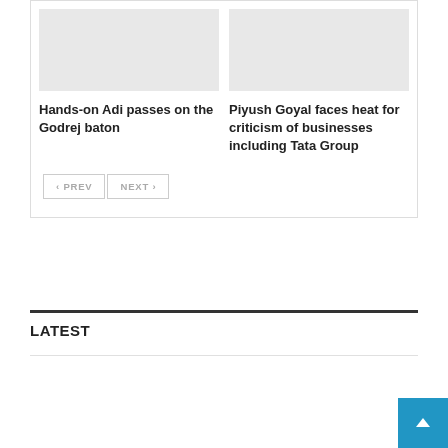[Figure (photo): Placeholder image for article: Hands-on Adi passes on the Godrej baton]
[Figure (photo): Placeholder image for article: Piyush Goyal faces heat for criticism of businesses including Tata Group]
Hands-on Adi passes on the Godrej baton
Piyush Goyal faces heat for criticism of businesses including Tata Group
< PREV
NEXT >
LATEST